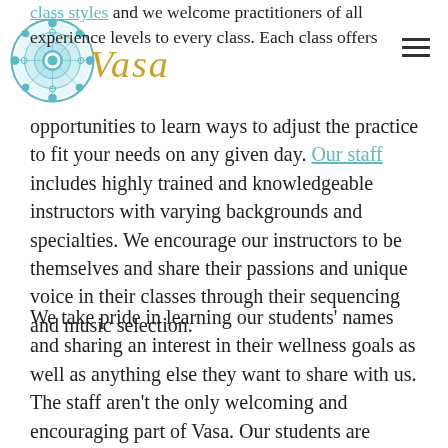[Figure (logo): Circular mandala logo with teal/turquoise geometric pattern, and 'Vasa' in gold script beside it]
class styles and we welcome practitioners of all experience levels to every class. Each class offers opportunities to learn ways to adjust the practice to fit your needs on any given day. Our staff includes highly trained and knowledgeable instructors with varying backgrounds and specialties. We encourage our instructors to be themselves and share their passions and unique voice in their classes through their sequencing and music selection.
We take pride in learning our students' names and sharing an interest in their wellness goals as well as anything else they want to share with us. The staff aren't the only welcoming and encouraging part of Vasa. Our students are genuinely kind and compassionate as well. It is truly a beautiful sight to see the friendships that have blossomed and